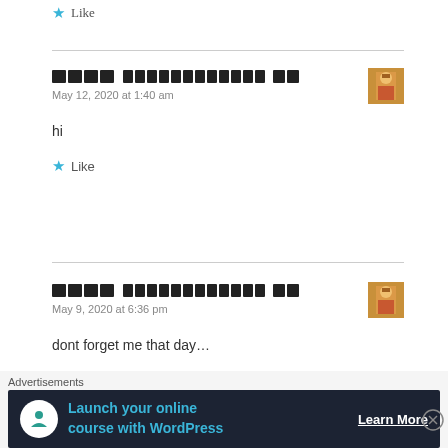★ Like
█████ ████████████ ██
May 12, 2020 at 1:40 am
hi
★ Like
█████ ████████████ ██
May 9, 2020 at 6:36 pm
dont forget me that day...
Advertisements
Launch your online course with WordPress  Learn More